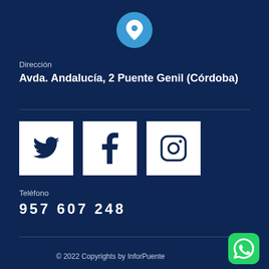[Figure (illustration): Blue circle with white location pin icon]
Dirección
Avda. Andalucía, 2 Puente Genil (Córdoba)
[Figure (illustration): Three white square social media icons: Twitter bird, Facebook f, Instagram camera]
Teléfono
957 607 248
© 2022 Copyrights by InforPuente